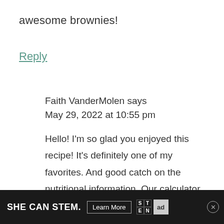awesome brownies!
Reply
Faith VanderMolen says
May 29, 2022 at 10:55 pm
Hello! I'm so glad you enjoyed this recipe! It's definitely one of my favorites. And good catch on the nutritional information. Our calculator isn't always accurate as it pulls
[Figure (other): Advertisement banner at bottom of page reading 'SHE CAN STEM.' with 'Learn More' button and ad council logo, with close button. Partially overlapping text below reads 'i[...] s. I'll']